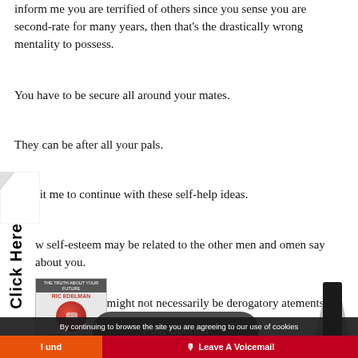inform me you are terrified of others since you sense you are second-rate for many years, then that’s the drastically wrong mentality to possess.
You have to be secure all around your mates.
They can be after all your pals.
Permit me to continue with these self-help ideas.
w self-esteem may be related to the other men and omen say about you.
hat they assert might not necessarily be derogatory atements.
[Figure (screenshot): Click Here sidebar tab on left edge of page]
[Figure (photo): Book cover - Ric Edelman with orange circle design]
[Figure (screenshot): Post Opened popup button overlay]
[Figure (photo): Electronic device (smart speaker or similar) on right side]
By continuing to browse the site you are agreeing to our use of cookies
I und
🎙 Leave A Voicemail